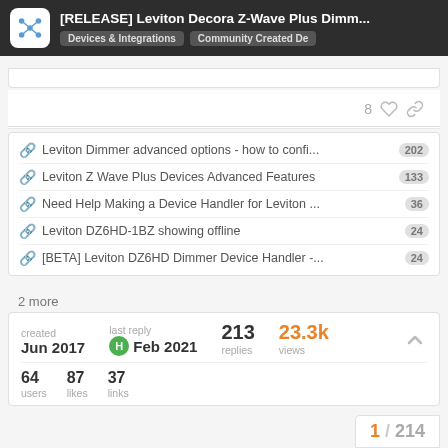[RELEASE] Leviton Decora Z-Wave Plus Dimm... | Devices & Integrations | Community Created De
Leviton Dimmer advanced options - how to confi... 202
Leviton Z Wave Plus Devices Advanced Features 133
Need Help Making a Device Handler for Leviton ... 36
Leviton DZ6HD-1BZ showing offline 24
[BETA] Leviton DZ6HD Dimmer Device Handler -... 24
2 more
| created | last reply | replies | views |
| --- | --- | --- | --- |
| Jun 2017 | H Feb 2021 | 213 | 23.3k |
|  |  | replies | views |
64 users   87 likes   37 links
1 / 214